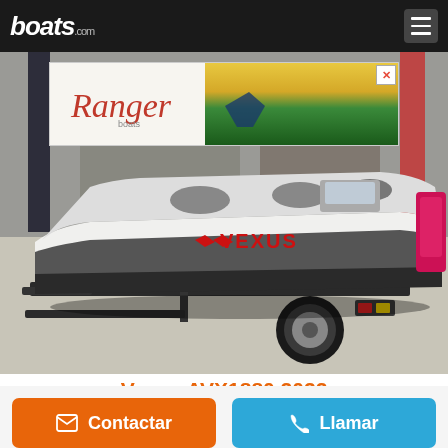boats.com
[Figure (photo): Vexus AVX1880 bass boat on trailer inside a boat dealership showroom. The white and dark gray aluminum fishing boat has the VEXUS logo on its side. The boat is shown in three-quarter front-left view on a black single-axle trailer with chrome wheels.]
[Figure (photo): Ranger Boats advertisement banner overlay on the boat photo, showing Ranger script logo on white background on left and a fishing scene with yellow flowers on right.]
Vexus AVX1880 2022
Fort Smith, Arkansas, Estados Unidos
Contactar  Llamar